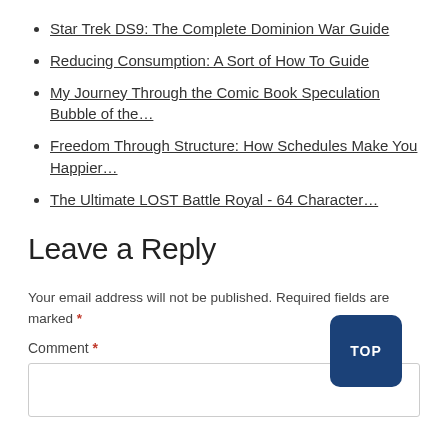Star Trek DS9: The Complete Dominion War Guide
Reducing Consumption: A Sort of How To Guide
My Journey Through the Comic Book Speculation Bubble of the…
Freedom Through Structure: How Schedules Make You Happier…
The Ultimate LOST Battle Royal - 64 Character…
Leave a Reply
Your email address will not be published. Required fields are marked *
Comment *